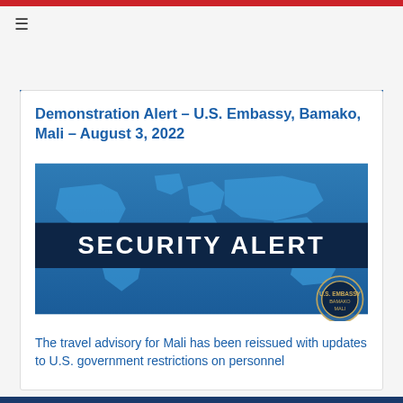≡
Demonstration Alert – U.S. Embassy, Bamako, Mali – August 3, 2022
[Figure (illustration): Security Alert banner image showing a world map in blue tones with a dark navy horizontal band across the center containing bold white text 'SECURITY ALERT' and a circular seal/emblem in the lower right corner.]
The travel advisory for Mali has been reissued with updates to U.S. government restrictions on personnel